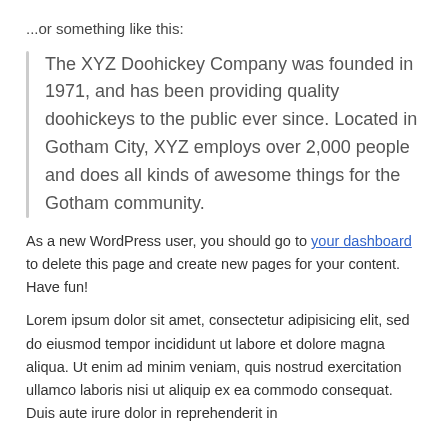...or something like this:
The XYZ Doohickey Company was founded in 1971, and has been providing quality doohickeys to the public ever since. Located in Gotham City, XYZ employs over 2,000 people and does all kinds of awesome things for the Gotham community.
As a new WordPress user, you should go to your dashboard to delete this page and create new pages for your content. Have fun!
Lorem ipsum dolor sit amet, consectetur adipisicing elit, sed do eiusmod tempor incididunt ut labore et dolore magna aliqua. Ut enim ad minim veniam, quis nostrud exercitation ullamco laboris nisi ut aliquip ex ea commodo consequat. Duis aute irure dolor in reprehenderit in